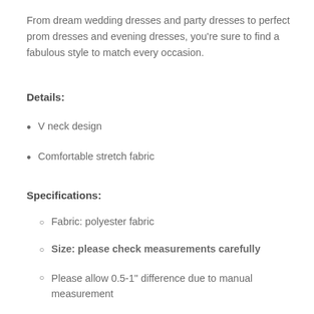From dream wedding dresses and party dresses to perfect prom dresses and evening dresses, you're sure to find a fabulous style to match every occasion.
Details:
V neck design
Comfortable stretch fabric
Specifications:
Fabric: polyester fabric
Size: please check measurements carefully
Please allow 0.5-1" difference due to manual measurement